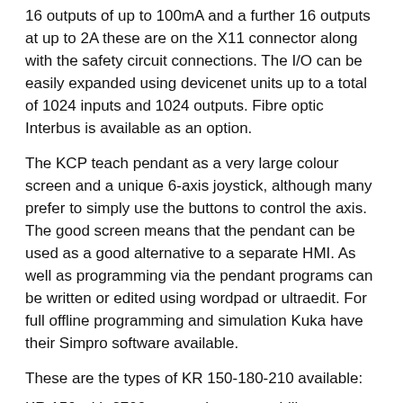16 outputs of up to 100mA and a further 16 outputs at up to 2A these are on the X11 connector along with the safety circuit connections. The I/O can be easily expanded using devicenet units up to a total of 1024 inputs and 1024 outputs. Fibre optic Interbus is available as an option.
The KCP teach pendant as a very large colour screen and a unique 6-axis joystick, although many prefer to simply use the buttons to control the axis. The good screen means that the pendant can be used as a good alternative to a separate HMI. As well as programming via the pendant programs can be written or edited using wordpad or ultraedit. For full offline programming and simulation Kuka have their Simpro software available.
These are the types of KR 150-180-210 available:
KR 150 with 2700mm reach - repeatability +-0.15mm
KR 150 L130 with 2900mm reach - repeatability +-0.15mm